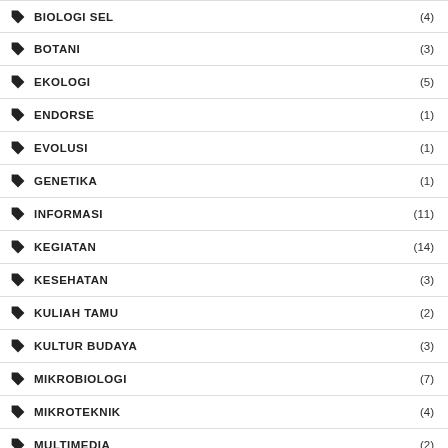BIOLOGI SEL (4)
BOTANI (3)
EKOLOGI (5)
ENDORSE (1)
EVOLUSI (1)
GENETIKA (1)
INFORMASI (11)
KEGIATAN (14)
KESEHATAN (3)
KULIAH TAMU (2)
KULTUR BUDAYA (3)
MIKROBIOLOGI (7)
MIKROTEKNIK (4)
MULTIMEDIA (2)